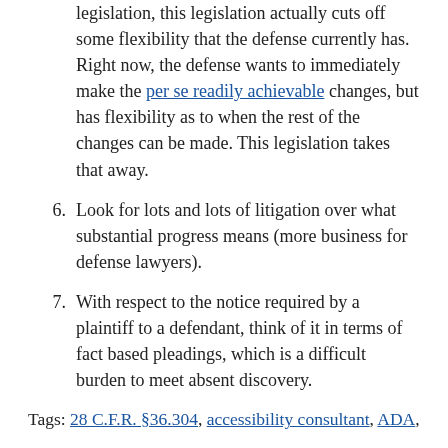By putting drop dead deadlines into the legislation, this legislation actually cuts off some flexibility that the defense currently has. Right now, the defense wants to immediately make the per se readily achievable changes, but has flexibility as to when the rest of the changes can be made. This legislation takes that away.
Look for lots and lots of litigation over what substantial progress means (more business for defense lawyers).
With respect to the notice required by a plaintiff to a defendant, think of it in terms of fact based pleadings, which is a difficult burden to meet absent discovery.
Tags: 28 C.F.R. §36.304, accessibility consultant, ADA,